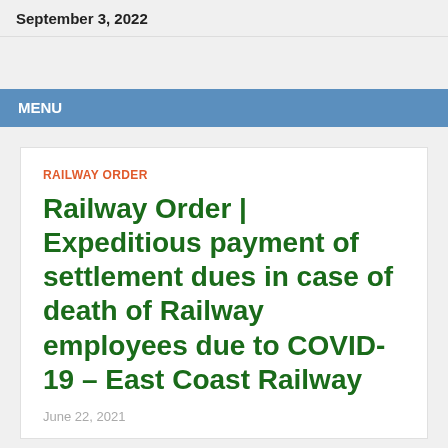September 3, 2022
MENU
RAILWAY ORDER
Railway Order | Expeditious payment of settlement dues in case of death of Railway employees due to COVID-19 – East Coast Railway
June 22, 2021